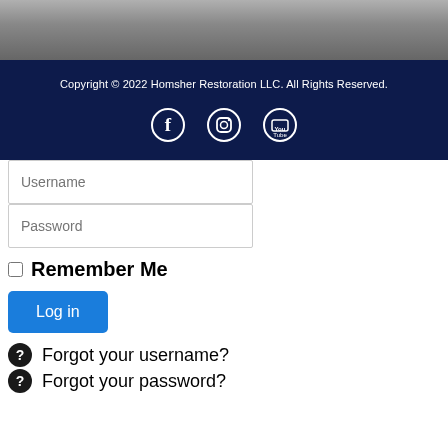[Figure (photo): Textured surface background photo strip at top of page]
Copyright © 2022 Homsher Restoration LLC. All Rights Reserved.
[Figure (other): Social media icons: Facebook, Instagram, YouTube in white circles on dark navy background]
Username
Password
Remember Me
Log in
Forgot your username?
Forgot your password?